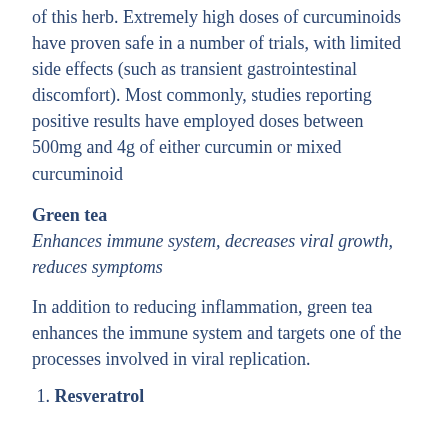of this herb. Extremely high doses of curcuminoids have proven safe in a number of trials, with limited side effects (such as transient gastrointestinal discomfort). Most commonly, studies reporting positive results have employed doses between 500mg and 4g of either curcumin or mixed curcuminoid
Green tea
Enhances immune system, decreases viral growth, reduces symptoms
In addition to reducing inflammation, green tea enhances the immune system and targets one of the processes involved in viral replication.
1. Resveratrol